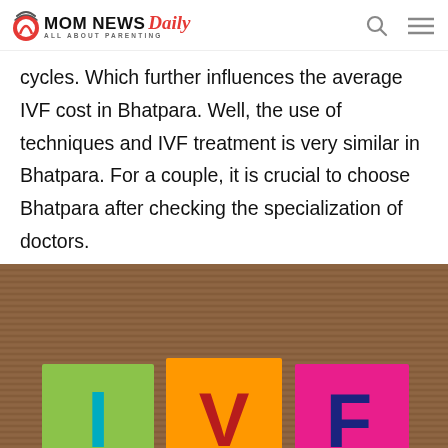MOM NEWS Daily — ALL ABOUT PARENTING
cycles. Which further influences the average IVF cost in Bhatpara. Well, the use of techniques and IVF treatment is very similar in Bhatpara. For a couple, it is crucial to choose Bhatpara after checking the specialization of doctors.
[Figure (photo): Three colorful sticky notes on a corrugated cardboard background, each with a large hand-drawn letter: 'I' in teal on a green sticky note, 'V' in red on an orange sticky note, 'F' in dark blue on a pink sticky note, spelling IVF.]